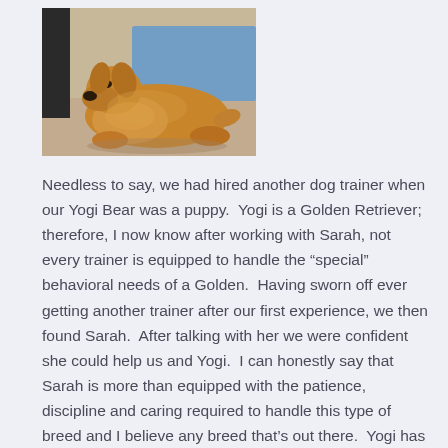[Figure (photo): A golden retriever dog lying on the floor, head slightly raised, with a blue mat or blanket partially visible behind it.]
Needless to say, we had hired another dog trainer when our Yogi Bear was a puppy.  Yogi is a Golden Retriever; therefore, I now know after working with Sarah, not every trainer is equipped to handle the “special” behavioral needs of a Golden.  Having sworn off ever getting another trainer after our first experience, we then found Sarah.  After talking with her we were confident she could help us and Yogi.  I can honestly say that Sarah is more than equipped with the patience, discipline and caring required to handle this type of breed and I believe any breed that’s out there.  Yogi has made such a transformation having only worked with Sarah for 2